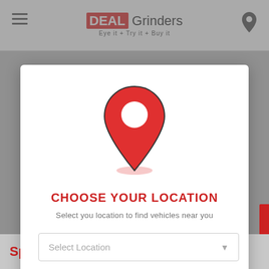DEAL Grinders — Eye it + Try it + Buy it
[Figure (screenshot): Large red map location pin icon with white circle cutout and shadow ellipse below]
CHOOSE YOUR LOCATION
Select you location to find vehicles near you
Select Location
Close
Specifications